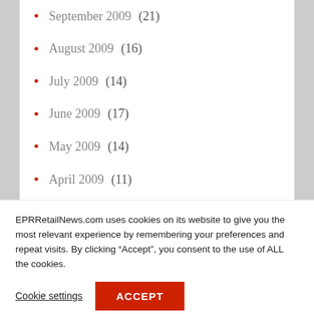September 2009 (21)
August 2009 (16)
July 2009 (14)
June 2009 (17)
May 2009 (14)
April 2009 (11)
March 2009 (12)
February 2009 (15)
EPRRetailNews.com uses cookies on its website to give you the most relevant experience by remembering your preferences and repeat visits. By clicking “Accept”, you consent to the use of ALL the cookies.
Cookie settings
ACCEPT